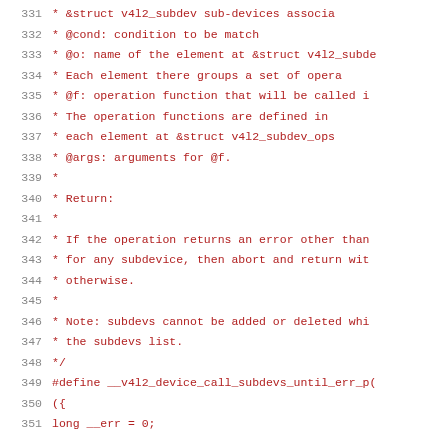Source code listing, lines 331-351, C preprocessor comment block and macro definition for __v4l2_device_call_subdevs_until_err_p